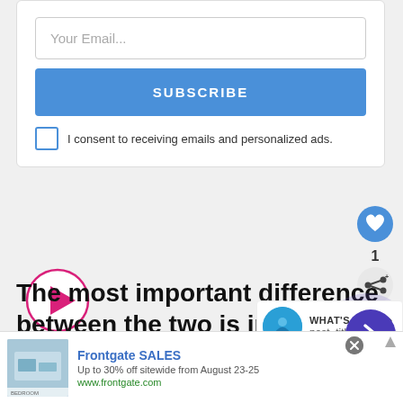Your Email...
SUBSCRIBE
I consent to receiving emails and personalized ads.
[Figure (illustration): Play button circle icon with pink/magenta border and filled play triangle]
The most important difference between the two is in terms of the kind of repres...
[Figure (screenshot): What's Next navigation overlay showing a circular thumbnail and 'post_title' label with right arrow]
[Figure (screenshot): Next article navigation circle button with right arrow chevron and ripple effect]
[Figure (screenshot): Advertisement banner for Frontgate SALES - Up to 30% off sitewide from August 23-25, www.frontgate.com, with bedroom image]